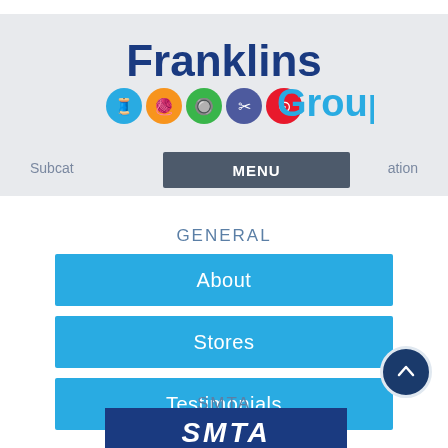[Figure (logo): Franklins Group logo with colorful sewing/craft icons and bold blue text]
MENU
Subcategories | navigation
GENERAL
About
Stores
Testimonials
SMTA
[Figure (logo): SMTA logo, partial — white italic letters on dark blue background]